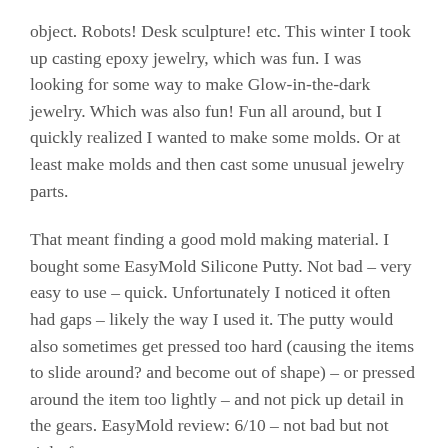object. Robots! Desk sculpture! etc. This winter I took up casting epoxy jewelry, which was fun. I was looking for some way to make Glow-in-the-dark jewelry. Which was also fun! Fun all around, but I quickly realized I wanted to make some molds. Or at least make molds and then cast some unusual jewelry parts.
That meant finding a good mold making material. I bought some EasyMold Silicone Putty. Not bad – very easy to use – quick. Unfortunately I noticed it often had gaps – likely the way I used it. The putty would also sometimes get pressed too hard (causing the items to slide around? and become out of shape) – or pressed around the item too lightly – and not pick up detail in the gears. EasyMold review: 6/10 – not bad but not right for me.
Next up: a reuseable mold making material: ComposiMold. Wow, this stuff seemed perfect. I imagined so many ways